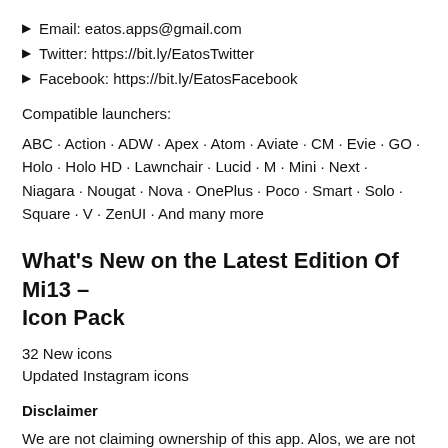Email: eatos.apps@gmail.com
Twitter: https://bit.ly/EatosTwitter
Facebook: https://bit.ly/EatosFacebook
Compatible launchers:
ABC · Action · ADW · Apex · Atom · Aviate · CM · Evie · GO · Holo · Holo HD · Lawnchair · Lucid · M · Mini · Next · Niagara · Nougat · Nova · OnePlus · Poco · Smart · Solo · Square · V · ZenUI · And many more
What's New on the Latest Edition Of Mi13 – Icon Pack
32 New icons
Updated Instagram icons
Disclaimer
We are not claiming ownership of this app. Alos, we are not affiliated. Everythings of Mi13 – Icon Pack app like SS, logo